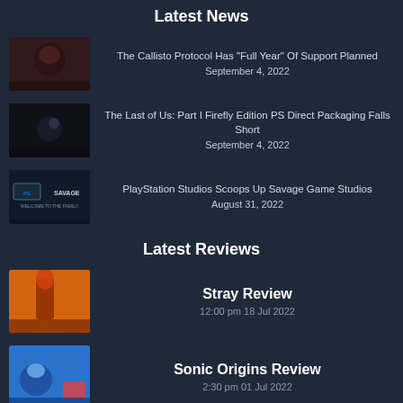Latest News
The Callisto Protocol Has “Full Year” Of Support Planned
September 4, 2022
The Last of Us: Part I Firefly Edition PS Direct Packaging Falls Short
September 4, 2022
PlayStation Studios Scoops Up Savage Game Studios
August 31, 2022
Latest Reviews
Stray Review
12:00 pm 18 Jul 2022
Sonic Origins Review
2:30 pm 01 Jul 2022